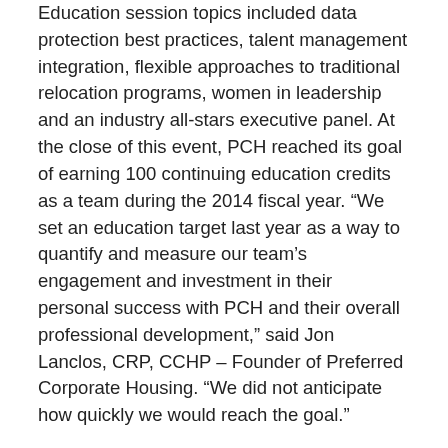Education session topics included data protection best practices, talent management integration, flexible approaches to traditional relocation programs, women in leadership and an industry all-stars executive panel. At the close of this event, PCH reached its goal of earning 100 continuing education credits as a team during the 2014 fiscal year. “We set an education target last year as a way to quantify and measure our team’s engagement and investment in their personal success with PCH and their overall professional development,” said Jon Lanclos, CRP, CCHP – Founder of Preferred Corporate Housing. “We did not anticipate how quickly we would reach the goal.”
“Preferred Corporate Housing has always placed an emphasis on employee certifications/designations and the continuing education requirements needed to maintain them,” said Megan Margetusakis, CCHP – Director of Operations for PCH. “Any opportunities that allow our team members to grow professionally or to